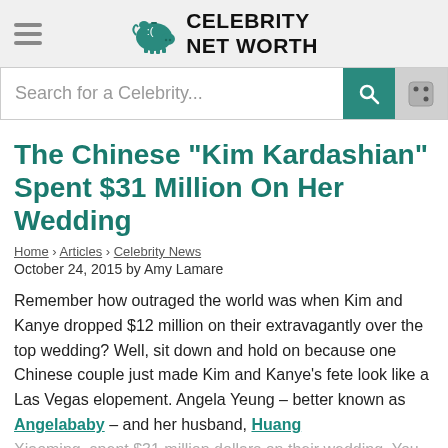Celebrity Net Worth
[Figure (screenshot): Search bar with teal search button and dice icon button]
The Chinese "Kim Kardashian" Spent $31 Million On Her Wedding
Home › Articles › Celebrity News
October 24, 2015 by Amy Lamare
Remember how outraged the world was when Kim and Kanye dropped $12 million on their extravagantly over the top wedding? Well, sit down and hold on because one Chinese couple just made Kim and Kanye's fete look like a Las Vegas elopement. Angela Yeung – better known as Angelababy – and her husband, Huang Xiaoming, spent $31 million dollars on their wedding. You heard me right, $31 million buckaroos. For some